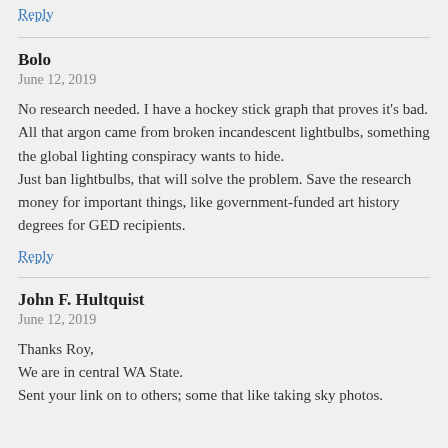Reply
Bolo
June 12, 2019
No research needed. I have a hockey stick graph that proves it's bad.
All that argon came from broken incandescent lightbulbs, something the global lighting conspiracy wants to hide.
Just ban lightbulbs, that will solve the problem. Save the research money for important things, like government-funded art history degrees for GED recipients.
Reply
John F. Hultquist
June 12, 2019
Thanks Roy,
We are in central WA State.
Sent your link on to others; some that like taking sky photos.